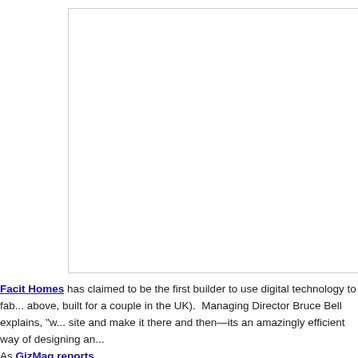[Figure (photo): A large white rectangular image placeholder with a thin gray border, representing a photo of a Facit Homes construction.]
Facit Homes has claimed to be the first builder to use digital technology to fab... above, built for a couple in the UK).  Managing Director Bruce Bell explains, "w... site and make it there and then—its an amazingly efficient way of designing an...
As GizMag reports